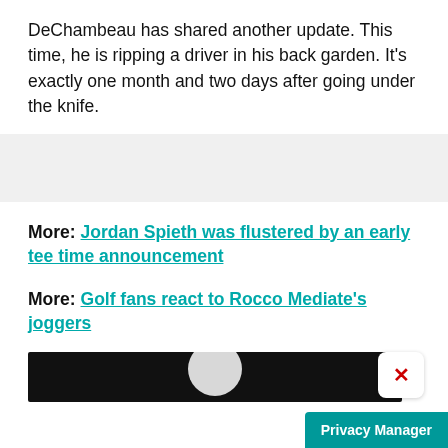DeChambeau has shared another update. This time, he is ripping a driver in his back garden. It's exactly one month and two days after going under the knife.
More: Jordan Spieth was flustered by an early tee time announcement
More: Golf fans react to Rocco Mediate's joggers
[Figure (screenshot): Dark image strip with a rounded close button showing an X in red, and a white circular shape visible in the center of the dark strip.]
Privacy Manager